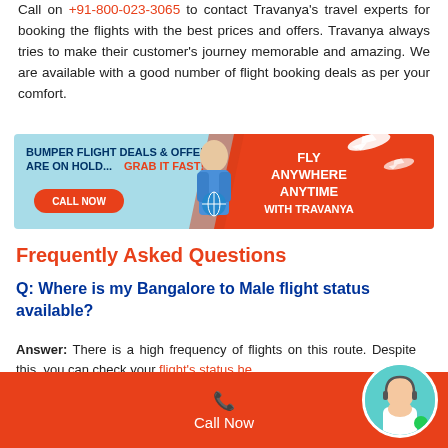Call on +91-800-023-3065 to contact Travanya's travel experts for booking the flights with the best prices and offers. Travanya always tries to make their customer's journey memorable and amazing. We are available with a good number of flight booking deals as per your comfort.
[Figure (infographic): Travanya promotional banner: light blue left section with text 'BUMPER FLIGHT DEALS & OFFERS ARE ON HOLD... GRAB IT FAST!' and orange CALL NOW button; center shows woman holding globe; orange right section with airplane silhouettes and text 'FLY ANYWHERE ANYTIME WITH TRAVANYA']
Frequently Asked Questions
Q: Where is my Bangalore to Male flight status available?
Answer: There is a high frequency of flights on this route. Despite this, you can check your flight's status here.
Q: How many flights are being flown